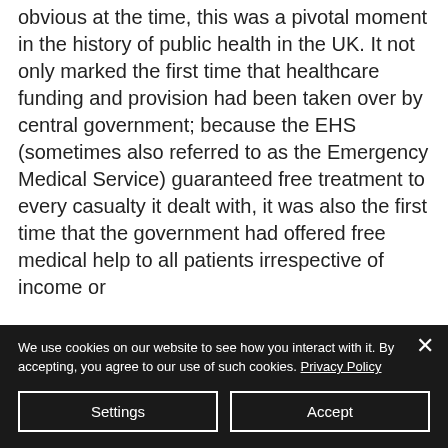obvious at the time, this was a pivotal moment in the history of public health in the UK. It not only marked the first time that healthcare funding and provision had been taken over by central government; because the EHS (sometimes also referred to as the Emergency Medical Service) guaranteed free treatment to every casualty it dealt with, it was also the first time that the government had offered free medical help to all patients irrespective of income or
We use cookies on our website to see how you interact with it. By accepting, you agree to our use of such cookies. Privacy Policy